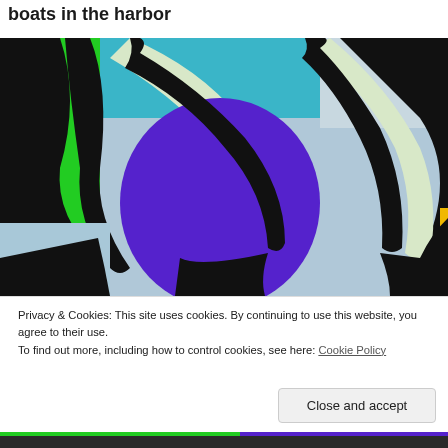boats in the harbor
[Figure (photo): Close-up photo of colorful stained glass or graffiti art showing vivid sections of green, teal, cream/white, purple/blue, and black outlines reminiscent of stained glass panels]
Privacy & Cookies: This site uses cookies. By continuing to use this website, you agree to their use.
To find out more, including how to control cookies, see here: Cookie Policy
Close and accept